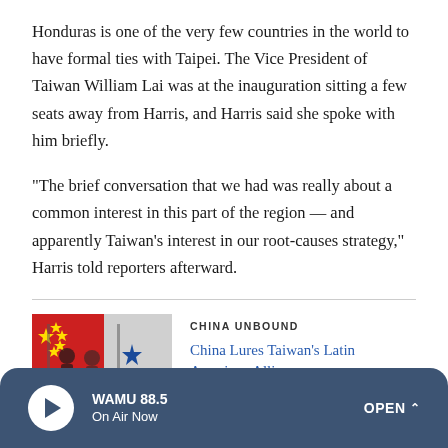Honduras is one of the very few countries in the world to have formal ties with Taipei. The Vice President of Taiwan William Lai was at the inauguration sitting a few seats away from Harris, and Harris said she spoke with him briefly.
"The brief conversation that we had was really about a common interest in this part of the region — and apparently Taiwan's interest in our root-causes strategy," Harris told reporters afterward.
[Figure (photo): Photo showing people with Chinese and Panamanian flags at a meeting or ceremony]
CHINA UNBOUND
China Lures Taiwan's Latin American Allies
WAMU 88.5 On Air Now OPEN ^